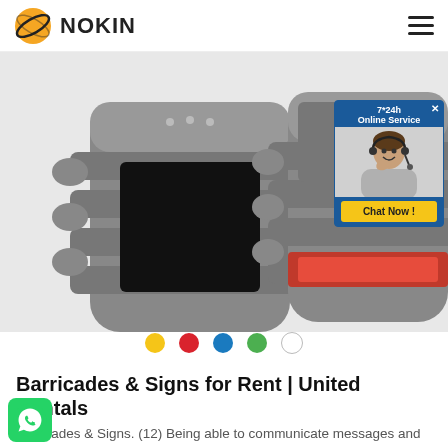NOKIN
[Figure (photo): Two grey road stud / reflector devices shown close up; left unit has a dark square reflector, right unit has a red reflector strip]
[Figure (infographic): Online chat popup with '7*24h Online Service' header, photo of woman with headset, and 'Chat Now !' button]
[Figure (other): Carousel navigation dots: yellow (active), red, blue, green, white]
Barricades & Signs for Rent | United Rentals
Barricades & Signs. (12) Being able to communicate messages and clearly direct traffic is essential in work and ent spaces. Whether you're doing road construction or municipal projects under or near roadways, United Rentals...